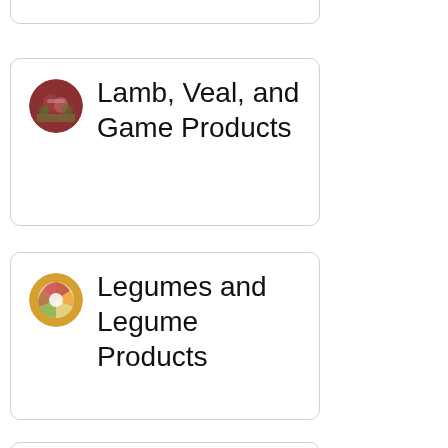[Figure (other): Partial card visible at top of page, cut off]
Lamb, Veal, and Game Products
Legumes and Legume Products
Meals, Entrees, and Side Dishes